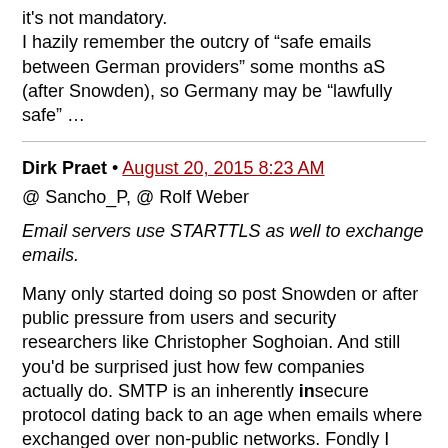it's not mandatory.
I hazily remember the outcry of “safe emails between German providers” some months aS (after Snowden), so Germany may be “lawfully safe” …
Dirk Praet • August 20, 2015 8:23 AM
@ Sancho_P, @ Rolf Weber
Email servers use STARTTLS as well to exchange emails.
Many only started doing so post Snowden or after public pressure from users and security researchers like Christopher Soghoian. And still you'd be surprised just how few companies actually do. SMTP is an inherently insecure protocol dating back to an age when emails where exchanged over non-public networks. Fondly I think back of the days when I sent steamy emails originating from pamela.anderson@baywatch.com to a gullible co-worker.
Despite layer after layer of authentication and other security improvements that over time have been boulted upon SMTP, the sad truth is that any message is still as secure as the